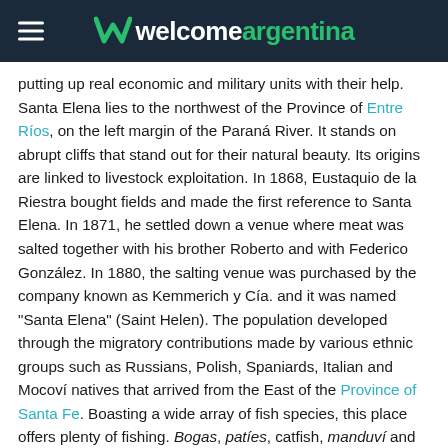welcomeargentina
putting up real economic and military units with their help. Santa Elena lies to the northwest of the Province of Entre Ríos, on the left margin of the Paraná River. It stands on abrupt cliffs that stand out for their natural beauty. Its origins are linked to livestock exploitation. In 1868, Eustaquio de la Riestra bought fields and made the first reference to Santa Elena. In 1871, he settled down a venue where meat was salted together with his brother Roberto and with Federico González. In 1880, the salting venue was purchased by the company known as Kemmerich y Cía. and it was named "Santa Elena" (Saint Helen). The population developed through the migratory contributions made by various ethnic groups such as Russians, Polish, Spaniards, Italian and Mocoví natives that arrived from the East of the Province of Santa Fe. Boasting a wide array of fish species, this place offers plenty of fishing. Bogas, patíes, catfish, manduví and armado may be caught in local waters. During the 1970s, this site enjoyed its splendor as the "paradise of fishing", which lasted until the 1980s. Immersed in the "Northwestern Tourist Corridor in Entre Ríos", the fundamental activity of its community revolves around the